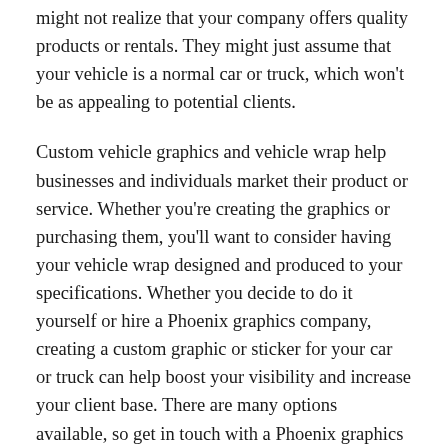might not realize that your company offers quality products or rentals. They might just assume that your vehicle is a normal car or truck, which won't be as appealing to potential clients.
Custom vehicle graphics and vehicle wrap help businesses and individuals market their product or service. Whether you're creating the graphics or purchasing them, you'll want to consider having your vehicle wrap designed and produced to your specifications. Whether you decide to do it yourself or hire a Phoenix graphics company, creating a custom graphic or sticker for your car or truck can help boost your visibility and increase your client base. There are many options available, so get in touch with a Phoenix graphics specialist for more information today.